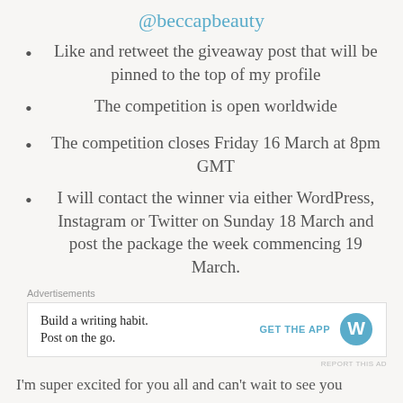@beccapbeauty
Like and retweet the giveaway post that will be pinned to the top of my profile
The competition is open worldwide
The competition closes Friday 16 March at 8pm GMT
I will contact the winner via either WordPress, Instagram or Twitter on Sunday 18 March and post the package the week commencing 19 March.
Advertisements
[Figure (screenshot): WordPress app advertisement: 'Build a writing habit. Post on the go.' with GET THE APP button and WordPress logo]
REPORT THIS AD
I'm super excited for you all and can't wait to see you